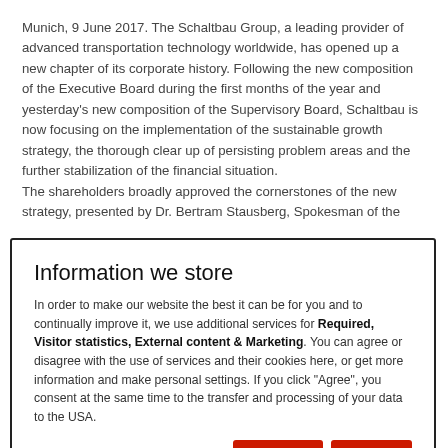Munich, 9 June 2017. The Schaltbau Group, a leading provider of advanced transportation technology worldwide, has opened up a new chapter of its corporate history. Following the new composition of the Executive Board during the first months of the year and yesterday's new composition of the Supervisory Board, Schaltbau is now focusing on the implementation of the sustainable growth strategy, the thorough clear up of persisting problem areas and the further stabilization of the financial situation.
The shareholders broadly approved the cornerstones of the new strategy, presented by Dr. Bertram Stausberg, Spokesman of the
Information we store
In order to make our website the best it can be for you and to continually improve it, we use additional services for Required, Visitor statistics, External content & Marketing. You can agree or disagree with the use of services and their cookies here, or get more information and make personal settings. If you click "Agree", you consent at the same time to the transfer and processing of your data to the USA.
Customize | Decline | Agree
investing in future projects that are critical to our organic growth."